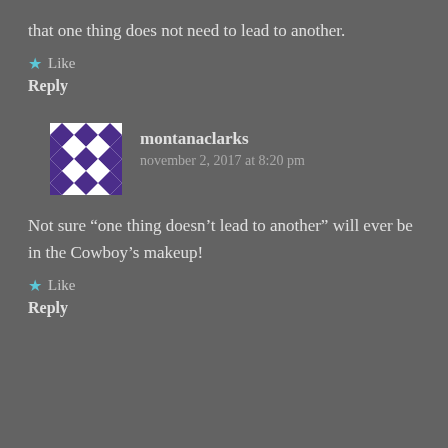that one thing does not need to lead to another.
Like
Reply
[Figure (illustration): Black and white geometric quilt-pattern avatar for user montanaclarks]
montanaclarks
november 2, 2017 at 8:20 pm
Not sure “one thing doesn’t lead to another” will ever be in the Cowboy’s makeup!
Like
Reply